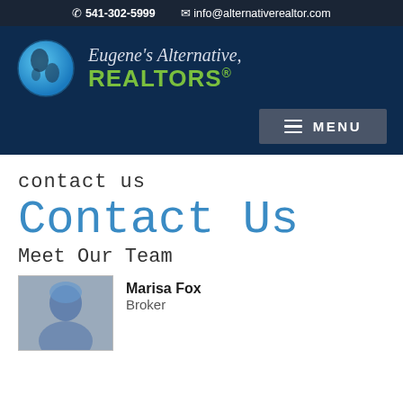541-302-5999   info@alternativerealtor.com
[Figure (logo): Eugene's Alternative, REALTORS logo with globe icon]
contact us
Contact Us
Meet Our Team
[Figure (photo): Photo of Marisa Fox]
Marisa Fox
Broker